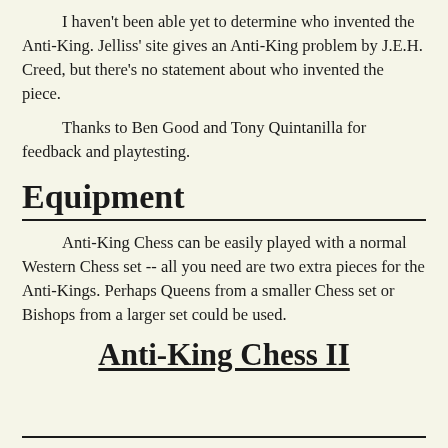I haven't been able yet to determine who invented the Anti-King. Jelliss' site gives an Anti-King problem by J.E.H. Creed, but there's no statement about who invented the piece.
Thanks to Ben Good and Tony Quintanilla for feedback and playtesting.
Equipment
Anti-King Chess can be easily played with a normal Western Chess set -- all you need are two extra pieces for the Anti-Kings. Perhaps Queens from a smaller Chess set or Bishops from a larger set could be used.
Anti-King Chess II